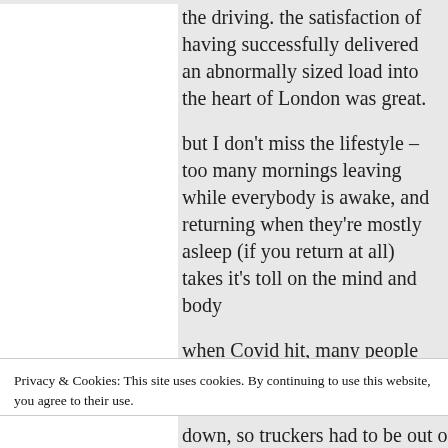the driving. the satisfaction of having successfully delivered an abnormally sized load into the heart of London was great.
but I don't miss the lifestyle – too many mornings leaving while everybody is awake, and returning when they're mostly asleep (if you return at all) takes it's toll on the mind and body
when Covid hit, many people saw how important people were who either drove trucks, or worked in supermarkets
all of a sudden those who are usually put
Privacy & Cookies: This site uses cookies. By continuing to use this website, you agree to their use.
To find out more, including how to control cookies, see here: Cookie Policy
Close and accept
down, so truckers had to be out on the